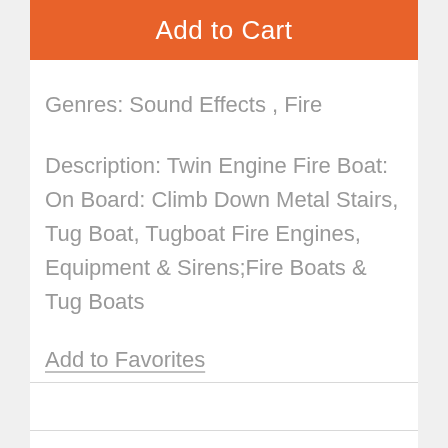[Figure (screenshot): Orange Add to Cart button at the top of the page]
Genres: Sound Effects , Fire
Description: Twin Engine Fire Boat: On Board: Climb Down Metal Stairs, Tug Boat, Tugboat Fire Engines, Equipment & Sirens;Fire Boats & Tug Boats
Add to Favorites